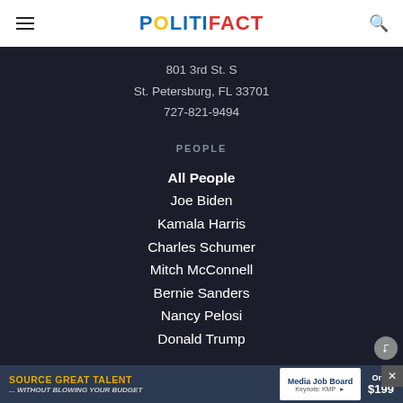POLITIFACT
801 3rd St. S
St. Petersburg, FL 33701
727-821-9494
PEOPLE
All People
Joe Biden
Kamala Harris
Charles Schumer
Mitch McConnell
Bernie Sanders
Nancy Pelosi
Donald Trump
SOURCE GREAT TALENT ... without blowing your budget | Media Job Board | Only $199